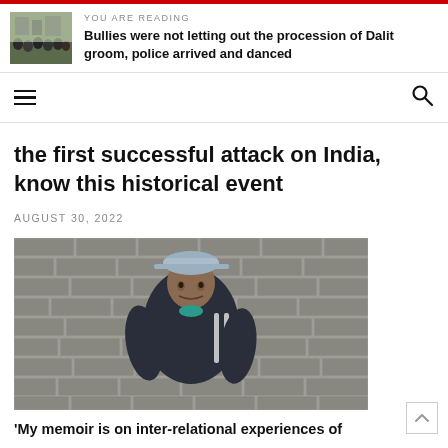YOU ARE READING
Bullies were not letting out the procession of Dalit groom, police arrived and danced
the first successful attack on India, know this historical event
AUGUST 30, 2022
[Figure (photo): A young man wearing a cap and dark hoodie with Adidas logo standing against a stone brick wall]
'My memoir is on inter-relational experiences of